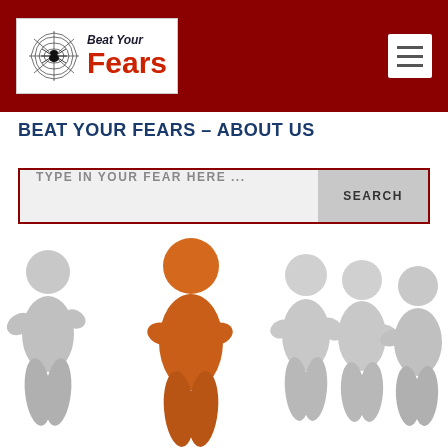Beat Your Fears - Website header with logo and hamburger menu
BEAT YOUR FEARS – ABOUT US
[Figure (other): Search bar with placeholder text TYPE IN YOUR FEAR HERE ... and SEARCH button]
[Figure (illustration): 3D illustration of five cartoon humanoid figures standing together. The central figure is orange/amber colored with arms crossed, while the four surrounding figures are light gray/white. Represents standing out from the crowd or being different.]